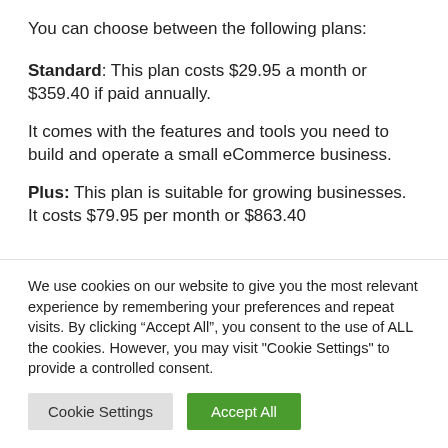You can choose between the following plans:
Standard: This plan costs $29.95 a month or $359.40 if paid annually.
It comes with the features and tools you need to build and operate a small eCommerce business.
Plus: This plan is suitable for growing businesses. It costs $79.95 per month or $863.40
We use cookies on our website to give you the most relevant experience by remembering your preferences and repeat visits. By clicking “Accept All”, you consent to the use of ALL the cookies. However, you may visit "Cookie Settings" to provide a controlled consent.
Cookie Settings
Accept All